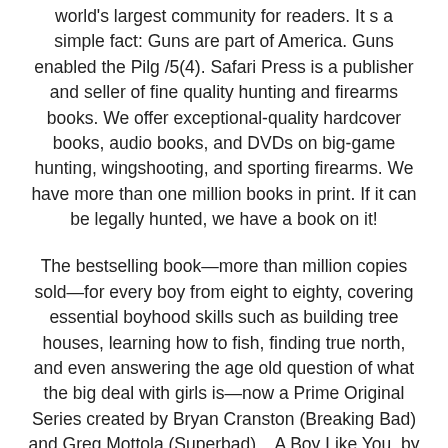world's largest community for readers. It s a simple fact: Guns are part of America. Guns enabled the Pilg /5(4). Safari Press is a publisher and seller of fine quality hunting and firearms books. We offer exceptional-quality hardcover books, audio books, and DVDs on big-game hunting, wingshooting, and sporting firearms. We have more than one million books in print. If it can be legally hunted, we have a book on it!
The bestselling book—more than million copies sold—for every boy from eight to eighty, covering essential boyhood skills such as building tree houses, learning how to fish, finding true north, and even answering the age old question of what the big deal with girls is—now a Prime Original Series created by Bryan Cranston (Breaking Bad) and Greg Mottola (Superbad).   A Boy Like You, by Frank Murphy and illustrated by Kayla Harren: This fabulous book walks